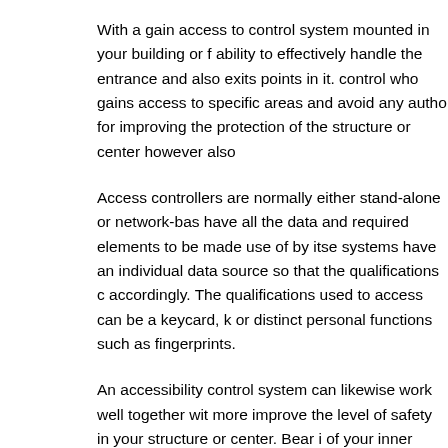With a gain access to control system mounted in your building or f... ability to effectively handle the entrance and also exits points in it. control who gains access to specific areas and avoid any unautho... for improving the protection of the structure or center however also
Access controllers are normally either stand-alone or network-bas... have all the data and required elements to be made use of by itse... systems have an individual data source so that the qualifications c... accordingly. The qualifications used to access can be a keycard, k... or distinct personal functions such as fingerprints.
An accessibility control system can likewise work well together wit... more improve the level of safety in your structure or center. Bear i... of your inner control as well as it need to aid make sure that your ... troubles as feasible. It will also offer you peace of mind that your p... with complete honesty.
Related posts:
Choose Our Singapore SEO Courses in Singapore for Suc...